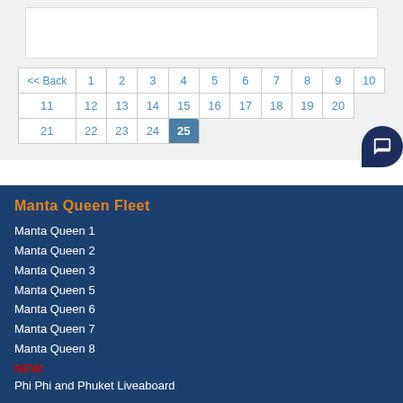[Figure (screenshot): White content box placeholder at top of page]
| << Back | 1 | 2 | 3 | 4 | 5 | 6 | 7 | 8 | 9 | 10 |
| 11 | 12 | 13 | 14 | 15 | 16 | 17 | 18 | 19 | 20 |  |
| 21 | 22 | 23 | 24 | 25 |  |  |  |  |  |  |
Manta Queen Fleet
Manta Queen 1
Manta Queen 2
Manta Queen 3
Manta Queen 5
Manta Queen 6
Manta Queen 7
Manta Queen 8
NEW:
Phi Phi and Phuket Liveaboard